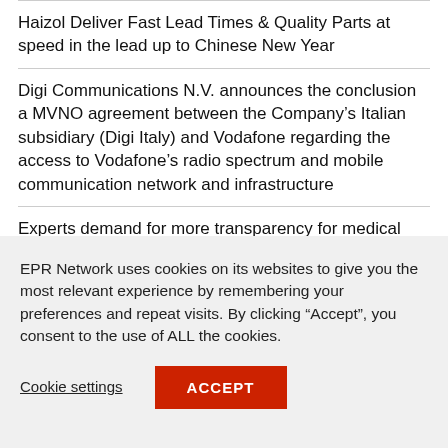Haizol Deliver Fast Lead Times & Quality Parts at speed in the lead up to Chinese New Year
Digi Communications N.V. announces the conclusion a MVNO agreement between the Company’s Italian subsidiary (Digi Italy) and Vodafone regarding the access to Vodafone’s radio spectrum and mobile communication network and infrastructure
Experts demand for more transparency for medical treatment of politicians
EPR Network uses cookies on its websites to give you the most relevant experience by remembering your preferences and repeat visits. By clicking “Accept”, you consent to the use of ALL the cookies.
Cookie settings
ACCEPT